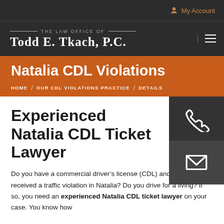My Account
[Figure (logo): The Law Office of Todd E. Tkach, P.C. logo with hamburger menu icon]
Natalia CDL Violations
HOME / OUR CDL VIOLATIONS PRACTICE / DETAILS
[Figure (other): Phone icon and email/envelope icon contact buttons]
Experienced Natalia CDL Ticket Lawyer
Do you have a commercial driver's license (CDL) and have received a traffic violation in Natalia? Do you drive for a living? If so, you need an experienced Natalia CDL ticket lawyer on your case. You know how